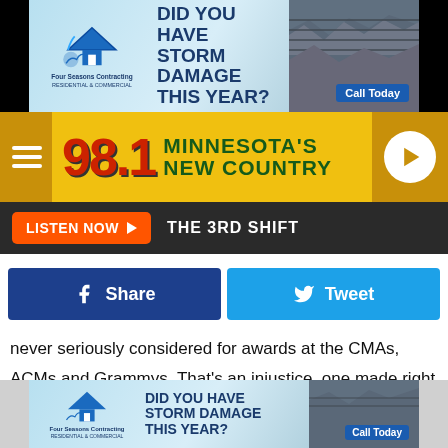[Figure (illustration): Top advertisement banner for Four Seasons Contracting: 'DID YOU HAVE STORM DAMAGE THIS YEAR?' with Call Today button and roof image]
[Figure (logo): 98.1 Minnesota's New Country radio station logo on golden/orange bar with hamburger menu and play button]
LISTEN NOW ▶  THE 3RD SHIFT
[Figure (illustration): Facebook Share button (dark blue) and Twitter Tweet button (light blue)]
never seriously considered for awards at the CMAs, ACMs and Grammys. That's an injustice, one made right by the multiple Platinum certifications.
In late 2015, country music was looking for something to replace bro-country. A more nourishing sound was necessary to keep traditional country fans interested, but no one
[Figure (illustration): Bottom advertisement banner for Four Seasons Contracting: 'DID YOU HAVE STORM DAMAGE THIS YEAR?' with Call Today button and roof image]